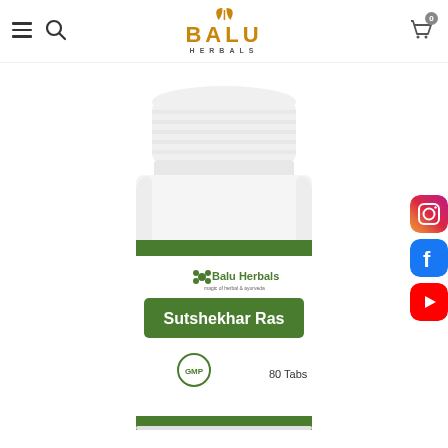Balu Herbals — navigation header with menu, search, logo, and cart
[Figure (photo): White plastic bottle of Balu Herbals Sutshekhar Ras 80 Tabs with green label stripe, GMP seal, displayed on white background]
[Figure (logo): Instagram icon (social media link)]
[Figure (logo): Facebook icon (social media link)]
[Figure (logo): YouTube icon (social media link)]